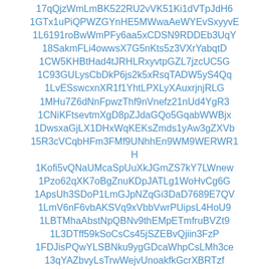17qQjzWmLmBK522RU2vVK51Ki1dVTpJdH6
1GTx1uPiQPWZGYnHE5MWwaAeWYEvSxyyvE
1L6191roBwWmPFy6aa5xCDSN9RDDEb3UqY
18SakmFLi4owwsX7G5nKts5z3VXrYabqtD
1CW5KHBtHad4tJRHLRxyvtpGZL7jzcUC5G
1C93GULysCbDkP6js2k5xRsqTADW5yS4Qq
1LvESswcxnXR1f1YhtLPXLyXAuxrjnjRLG
1MHu7Z6dNnFpwzThf9nVnefz21nUd4YgR3
1CNiKFtsevtmXgD8pZJdaGQo5GqabWWBjx
1DwsxaGjLX1DHxWqKEKsZmds1yAw3gZXVb
15R3cVCqbHFm3FMf9UNhhEn9WM9WERWR1H
1Kofi5vQNaUMcaSpUuXkJGmZS7kY7LWnew
1Pzo62qXK7oBgZnuKDpJATLg1WoHvCg6G
1ApsUh3SDoP1LmGJpNZqGi3DaD7689E7QV
1LmV6nF6vbAKSVq9xVbbVwrPUipsL4HoU9
1LBTMhaAbstNpQBNv9thEMpETmfruBVZt9
1L3DTff59kSoCsCs45jSZEBvQjiin3FzP
1FDJisPQwYLSBNku9ygGDcaWhpCsLMh3ce
13qYAZbvyLsTrwWejvUnoakfkGcrXBRTzf
1FTjaWxXzUhAroSDgAipGG5vxULVYp7gfM
13LN2B6s2obkBV6Qo46fZrtkTZKpgZkRKS
1NpLZXu2k66ZqLJ7mjov3pG39xw4rfq6R5A